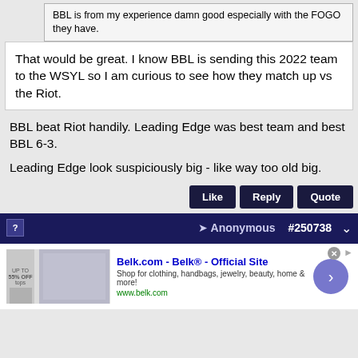BBL is from my experience damn good especially with the FOGO they have.
That would be great. I know BBL is sending this 2022 team to the WSYL so I am curious to see how they match up vs the Riot.
BBL beat Riot handily. Leading Edge was best team and best BBL 6-3.

Leading Edge look suspiciously big - like way too old big.
Anonymous #250738
[Figure (screenshot): Advertisement for Belk.com showing clothing/bedding images, title 'Belk.com - Belk® - Official Site', description 'Shop for clothing, handbags, jewelry, beauty, home & more!', url 'www.belk.com', with a purple circular arrow button.]